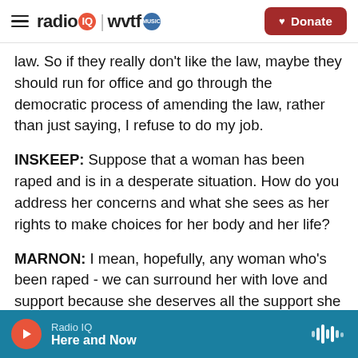radio IQ | wvtf MUSIC  [Donate button]
law. So if they really don't like the law, maybe they should run for office and go through the democratic process of amending the law, rather than just saying, I refuse to do my job.
INSKEEP: Suppose that a woman has been raped and is in a desperate situation. How do you address her concerns and what she sees as her rights to make choices for her body and her life?
MARNON: I mean, hopefully, any woman who's been raped - we can surround her with love and support because she deserves all the support she
Radio IQ  Here and Now